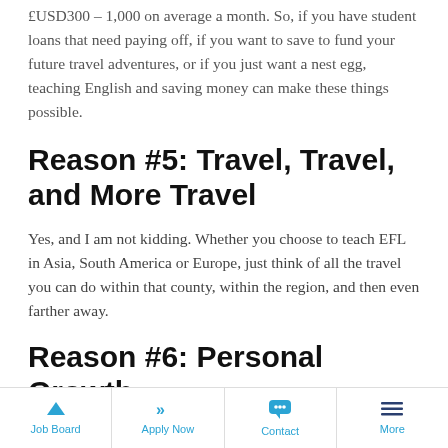£USD300 – 1,000 on average a month. So, if you have student loans that need paying off, if you want to save to fund your future travel adventures, or if you just want a nest egg, teaching English and saving money can make these things possible.
Reason #5: Travel, Travel, and More Travel
Yes, and I am not kidding. Whether you choose to teach EFL in Asia, South America or Europe, just think of all the travel you can do within that county, within the region, and then even farther away.
Reason #6: Personal Growth
Whether you are super excited to be moving to
Job Board   Apply Now   Contact   More